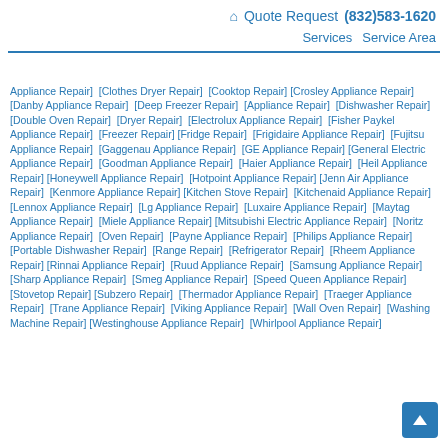🏠 Quote Request (832)583-1620 Services Service Area
Appliance Repair] [Clothes Dryer Repair] [Cooktop Repair] [Crosley Appliance Repair] [Danby Appliance Repair] [Deep Freezer Repair] [Appliance Repair] [Dishwasher Repair] [Double Oven Repair] [Dryer Repair] [Electrolux Appliance Repair] [Fisher Paykel Appliance Repair] [Freezer Repair] [Fridge Repair] [Frigidaire Appliance Repair] [Fujitsu Appliance Repair] [Gaggenau Appliance Repair] [GE Appliance Repair] [General Electric Appliance Repair] [Goodman Appliance Repair] [Haier Appliance Repair] [Heil Appliance Repair] [Honeywell Appliance Repair] [Hotpoint Appliance Repair] [Jenn Air Appliance Repair] [Kenmore Appliance Repair] [Kitchen Stove Repair] [Kitchenaid Appliance Repair] [Lennox Appliance Repair] [Lg Appliance Repair] [Luxaire Appliance Repair] [Maytag Appliance Repair] [Miele Appliance Repair] [Mitsubishi Electric Appliance Repair] [Noritz Appliance Repair] [Oven Repair] [Payne Appliance Repair] [Philips Appliance Repair] [Portable Dishwasher Repair] [Range Repair] [Refrigerator Repair] [Rheem Appliance Repair] [Rinnai Appliance Repair] [Ruud Appliance Repair] [Samsung Appliance Repair] [Sharp Appliance Repair] [Smeg Appliance Repair] [Speed Queen Appliance Repair] [Stovetop Repair] [Subzero Repair] [Thermador Appliance Repair] [Traeger Appliance Repair] [Trane Appliance Repair] [Viking Appliance Repair] [Wall Oven Repair] [Washing Machine Repair] [Westinghouse Appliance Repair] [Whirlpool Appliance Repair]